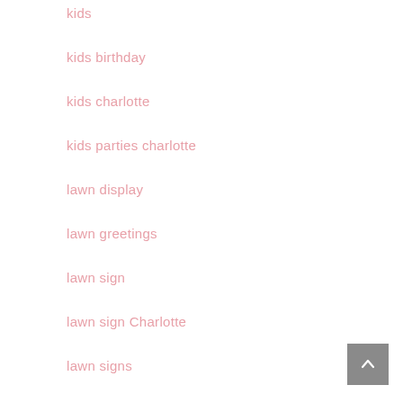kids
kids birthday
kids charlotte
kids parties charlotte
lawn display
lawn greetings
lawn sign
lawn sign Charlotte
lawn signs
Magnolia Storks & More
Matthews
milestone birthdays
mom
NC
new baby
new mother